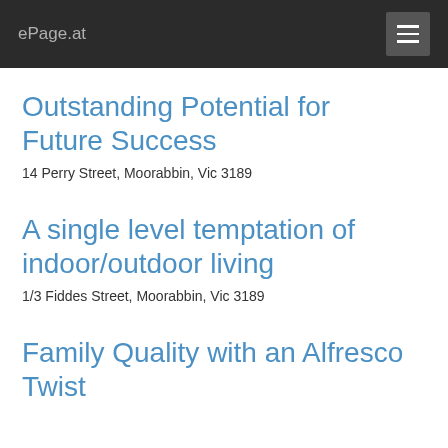ePage.at
Outstanding Potential for Future Success
14 Perry Street, Moorabbin, Vic 3189
A single level temptation of indoor/outdoor living
1/3 Fiddes Street, Moorabbin, Vic 3189
Family Quality with an Alfresco Twist